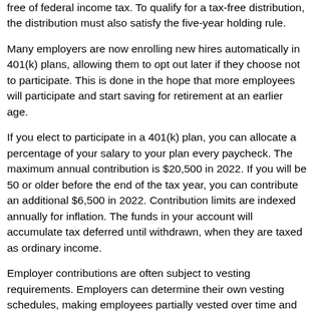free of federal income tax. To qualify for a tax-free distribution, the distribution must also satisfy the five-year holding rule.
Many employers are now enrolling new hires automatically in 401(k) plans, allowing them to opt out later if they choose not to participate. This is done in the hope that more employees will participate and start saving for retirement at an earlier age.
If you elect to participate in a 401(k) plan, you can allocate a percentage of your salary to your plan every paycheck. The maximum annual contribution is $20,500 in 2022. If you will be 50 or older before the end of the tax year, you can contribute an additional $6,500 in 2022. Contribution limits are indexed annually for inflation. The funds in your account will accumulate tax deferred until withdrawn, when they are taxed as ordinary income.
Employer contributions are often subject to vesting requirements. Employers can determine their own vesting schedules, making employees partially vested over time and fully vested after a specific number of years. When an employee is fully vested, he or she is entitled to all the contributions made...